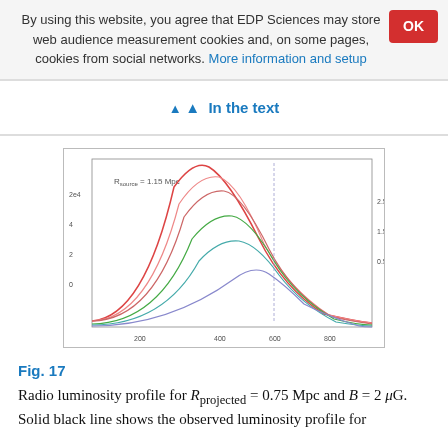By using this website, you agree that EDP Sciences may store web audience measurement cookies and, on some pages, cookies from social networks. More information and setup
In the text
[Figure (continuous-plot): Radio luminosity profile plot showing multiple colored curves (red, pink, green, teal, blue, purple) peaking at different heights along the x-axis (spectral frequency axis), with y-axis representing luminosity. Label reads R_source = 1.15 Mpc.]
Fig. 17
Radio luminosity profile for R_projected = 0.75 Mpc and B = 2 μG. Solid black line shows the observed luminosity profile for